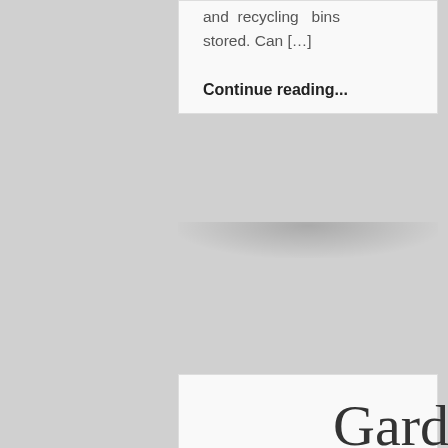and recycling bins stored. Can […]
Continue reading...
Garden Fire Pit Bowl Stone Charcoal BBQ Rack